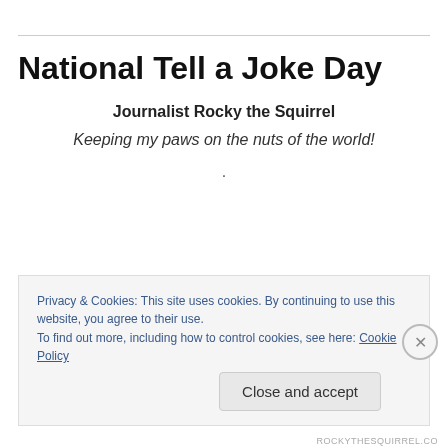National Tell a Joke Day
Journalist Rocky the Squirrel
Keeping my paws on the nuts of the world!
.
Today, August 16th, is National Tell a Joke Day.  YAY! Today should be filled with chuckles and laughs all
Privacy & Cookies: This site uses cookies. By continuing to use this website, you agree to their use.
To find out more, including how to control cookies, see here: Cookie Policy
Close and accept